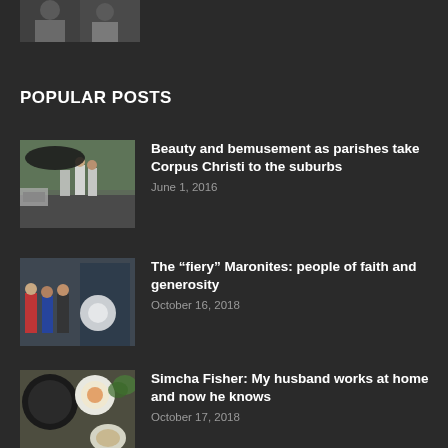[Figure (photo): Partial cropped photo at top of page showing people]
POPULAR POSTS
[Figure (photo): People in white robes walking on a street, Corpus Christi procession]
Beauty and bemusement as parishes take Corpus Christi to the suburbs
June 1, 2016
[Figure (photo): Group of people standing outside, Maronites community photo]
The “fiery” Maronites: people of faith and generosity
October 16, 2018
[Figure (photo): Top-down view of dishes and food on a table]
Simcha Fisher: My husband works at home and now he knows
October 17, 2018